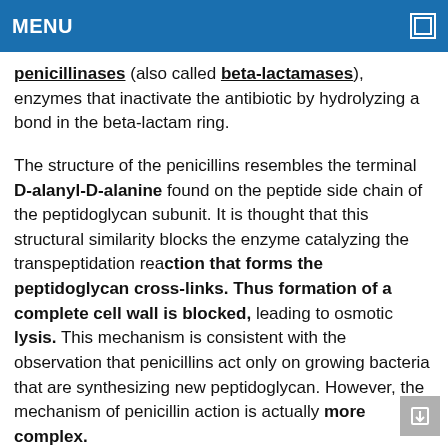MENU
penicillinases (also called beta-lactamases), enzymes that inactivate the antibiotic by hydrolyzing a bond in the beta-lactam ring.
The structure of the penicillins resembles the terminal D-alanyl-D-alanine found on the peptide side chain of the peptidoglycan subunit. It is thought that this structural similarity blocks the enzyme catalyzing the transpeptidation reaction that forms the peptidoglycan cross-links. Thus formation of a complete cell wall is blocked, leading to osmotic lysis. This mechanism is consistent with the observation that penicillins act only on growing bacteria that are synthesizing new peptidoglycan. However, the mechanism of penicillin action is actually more complex.
Penicillins also bind to several periplasmic proteins (penicillin-binding proteins, or PBPs) and